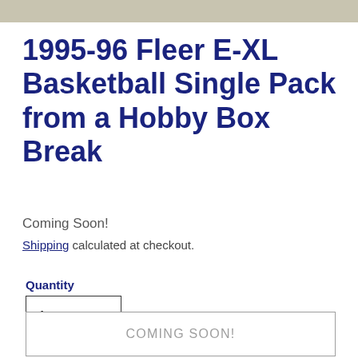[Figure (photo): Partial product image strip at top of page]
1995-96 Fleer E-XL Basketball Single Pack from a Hobby Box Break
Coming Soon!
Shipping calculated at checkout.
Quantity
1
COMING SOON!